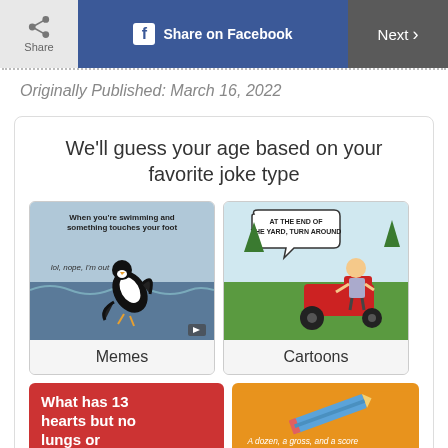Share | Share on Facebook | Next >
Originally Published: March 16, 2022
We'll guess your age based on your favorite joke type
[Figure (photo): Meme: penguin jumping out of water with text 'When you're swimming and something touches your foot' and 'lol, nope, I'm out']
Memes
[Figure (illustration): Cartoon: man on riding lawnmower with speech bubble 'AT THE END OF THE YARD, TURN AROUND']
Cartoons
[Figure (photo): Red card with text: What has 13 hearts but no lungs or]
[Figure (photo): Orange card with pencil image and text: A dozen, a gross, and a score]